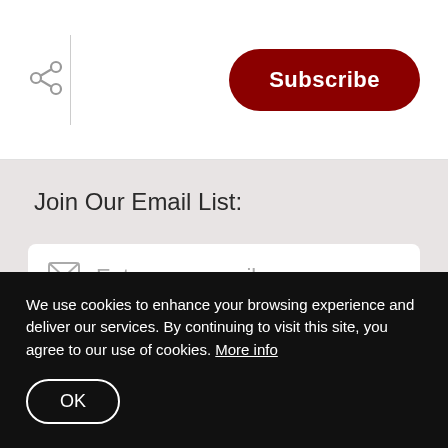[Figure (other): Share icon (network share symbol) in gray]
Subscribe
Join Our Email List:
Enter your email
Subscribe
We respect your inbox. We only send
We use cookies to enhance your browsing experience and deliver our services. By continuing to visit this site, you agree to our use of cookies. More info
OK